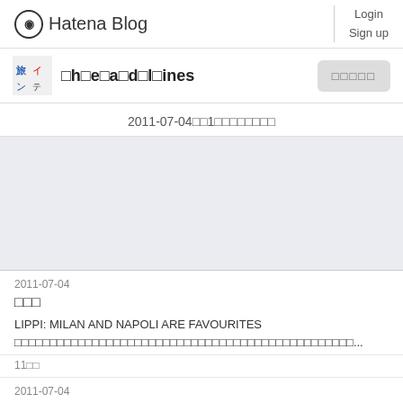Hatena Blog  Login  Sign up
□h□e□a□d□l□ines
2011-07-04□□1□□□□□□□□
[Figure (other): Advertisement or placeholder gray area]
2011-07-04
□□□
LIPPI: MILAN AND NAPOLI ARE FAVOURITES □□□□□□□□□□□□□□□□□□□□□□□□□□□□□□□□□□□□□□□□□...
11□□
2011-07-04